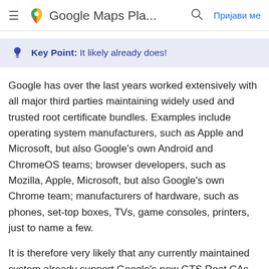≡  Google Maps Pla...  🔍  Пријави ме
Key Point: It likely already does!
Google has over the last years worked extensively with all major third parties maintaining widely used and trusted root certificate bundles. Examples include operating system manufacturers, such as Apple and Microsoft, but also Google's own Android and ChromeOS teams; browser developers, such as Mozilla, Apple, Microsoft, but also Google's own Chrome team; manufacturers of hardware, such as phones, set-top boxes, TVs, game consoles, printers, just to name a few.
It is therefore very likely that any currently maintained system already support Google's new GTS Root CAs, including GTS Root R1, and even legacy systems are highly likely to support it. Most open-source SSL/TLS libraries will